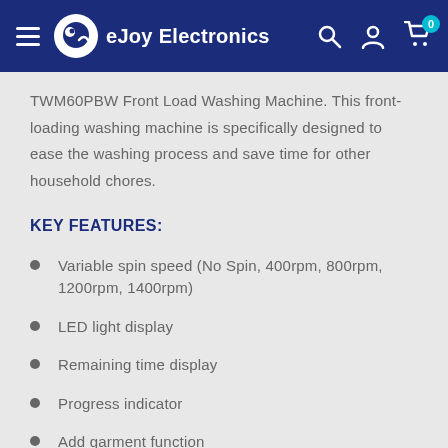eJoy Electronics
TWM60PBW Front Load Washing Machine. This front-loading washing machine is specifically designed to ease the washing process and save time for other household chores.
KEY FEATURES:
Variable spin speed (No Spin, 400rpm, 800rpm, 1200rpm, 1400rpm)
LED light display
Remaining time display
Progress indicator
Add garment function
Child lock
Anti-foam control